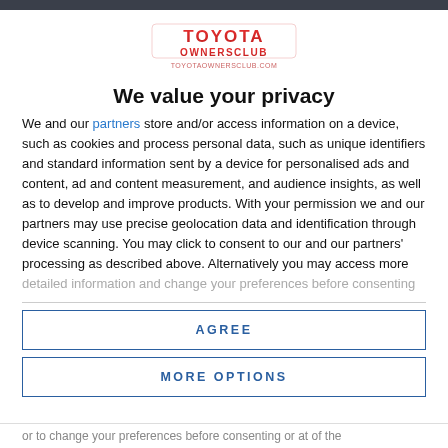[Figure (logo): Toyota Owners Club logo with red text and URL]
We value your privacy
We and our partners store and/or access information on a device, such as cookies and process personal data, such as unique identifiers and standard information sent by a device for personalised ads and content, ad and content measurement, and audience insights, as well as to develop and improve products. With your permission we and our partners may use precise geolocation data and identification through device scanning. You may click to consent to our and our partners' processing as described above. Alternatively you may access more detailed information and change your preferences before consenting
AGREE
MORE OPTIONS
or to change your preferences before consenting or at of the